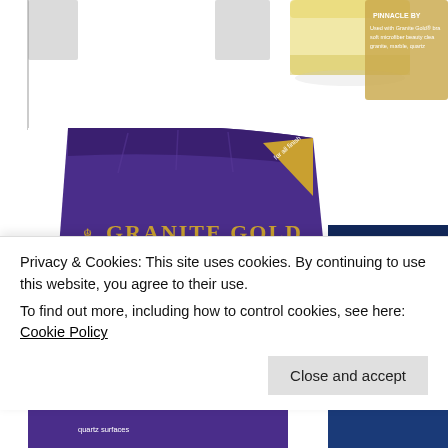[Figure (photo): Top portion of a product page showing cropped product images at the top — a white/yellow sponge or stone piece (center-top) and a gold/beige product box partially visible (top right)]
[Figure (photo): Purple Granite Gold branded product bag (center), showing a kitchen scene on the packaging with 'GRANITE GOLD' text and logo]
[Figure (photo): Partially visible blue Granite Gold branded product bag on the right edge, with 'GRAN' text visible and similar kitchen imagery]
Privacy & Cookies: This site uses cookies. By continuing to use this website, you agree to their use.
To find out more, including how to control cookies, see here: Cookie Policy
Close and accept